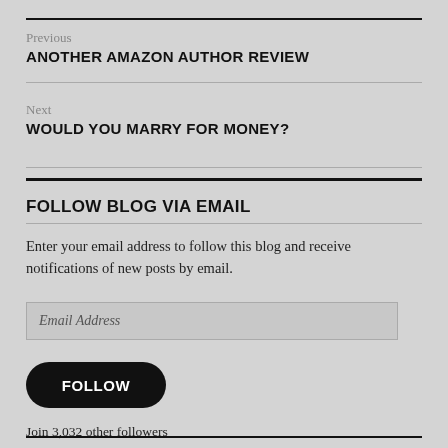Previous
ANOTHER AMAZON AUTHOR REVIEW
Next
WOULD YOU MARRY FOR MONEY?
FOLLOW BLOG VIA EMAIL
Enter your email address to follow this blog and receive notifications of new posts by email.
Email Address
FOLLOW
Join 3,032 other followers